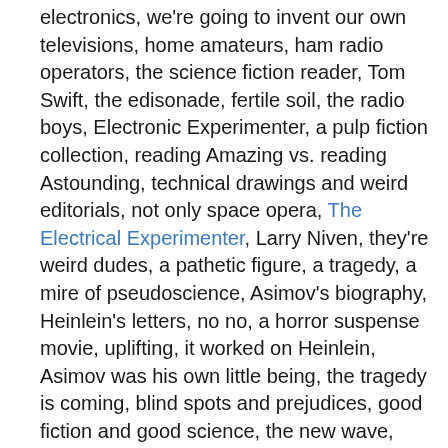electronics, we're going to invent our own televisions, home amateurs, ham radio operators, the science fiction reader, Tom Swift, the edisonade, fertile soil, the radio boys, Electronic Experimenter, a pulp fiction collection, reading Amazing vs. reading Astounding, technical drawings and weird editorials, not only space opera, The Electrical Experimenter, Larry Niven, they're weird dudes, a pathetic figure, a tragedy, a mire of pseudoscience, Asimov's biography, Heinlein's letters, no no, a horror suspense movie, uplifting, it worked on Heinlein, Asimov was his own little being, the tragedy is coming, blind spots and prejudices, good fiction and good science, the new wave, Harlan Ellison, Ursula K. Le Guin, a machine for generating analogies, he's given them the tools to push back against him, still influential, descent into pseudoscience and self delusion, Asimov's preface to Dangerous Visions, we're the squares, the passing of the torch, the sexual revolution, a cultural revolution vibe, Asimov was a square, “I fuck a lot,